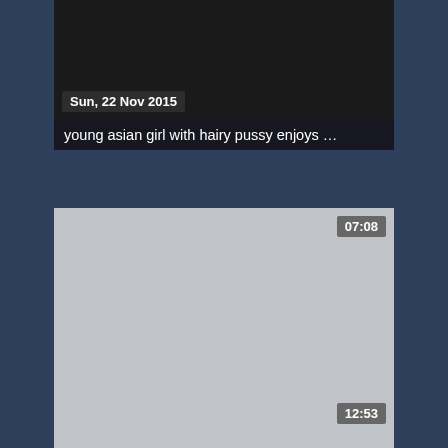[Figure (screenshot): Video thumbnail card 1: dark/photo thumbnail with date badge 'Sun, 22 Nov 2015' and title 'young asian girl with hairy pussy enjoys ...']
young asian girl with hairy pussy enjoys ...
[Figure (screenshot): Video thumbnail card 2: gray placeholder thumbnail with time badge '07:08' and date badge 'Tue, 26 Jul 2016' and title 'Genital male porn and indian gay 3gp se...']
Genital male porn and indian gay 3gp se...
[Figure (screenshot): Video thumbnail card 3: gray placeholder thumbnail with time badge '12:53', partially visible at bottom of page]